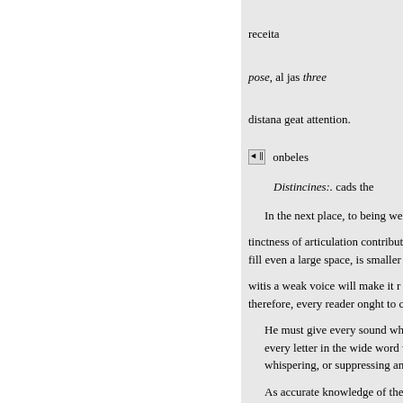receita
pose, al jas three
distana geat attention.
onbeles
Distincines:. cads the
In the next place, to being wel
tinctness of articulation contribut fill even a large space, is smaller
witis a weak voice will make it r therefore, every reader onght to c
He must give every sound whi every letter in the wide word wh whispering, or suppressing any o
As accurate knowledge of the expressing tb!, are so necessary t he ness of expression, that is the are in this situation) it will be inc